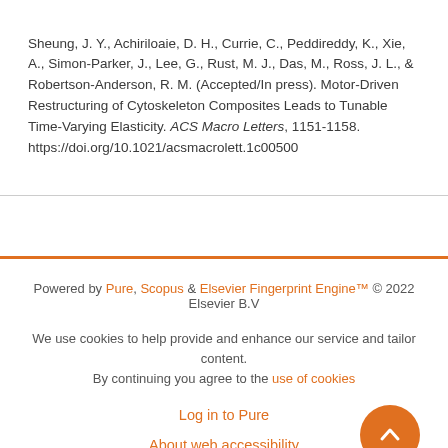Sheung, J. Y., Achiriloaie, D. H., Currie, C., Peddireddy, K., Xie, A., Simon-Parker, J., Lee, G., Rust, M. J., Das, M., Ross, J. L., & Robertson-Anderson, R. M. (Accepted/In press). Motor-Driven Restructuring of Cytoskeleton Composites Leads to Tunable Time-Varying Elasticity. ACS Macro Letters, 1151-1158. https://doi.org/10.1021/acsmacrolett.1c00500
Powered by Pure, Scopus & Elsevier Fingerprint Engine™ © 2022 Elsevier B.V
We use cookies to help provide and enhance our service and tailor content. By continuing you agree to the use of cookies
Log in to Pure
About web accessibility